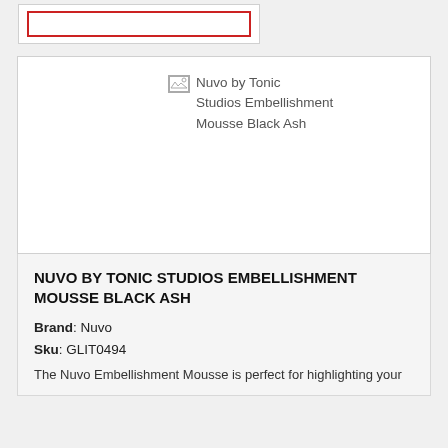[Figure (other): Broken image placeholder for Nuvo by Tonic Studios Embellishment Mousse Black Ash product photo]
NUVO BY TONIC STUDIOS EMBELLISHMENT MOUSSE BLACK ASH
Brand: Nuvo
Sku: GLIT0494
The Nuvo Embellishment Mousse is perfect for highlighting your